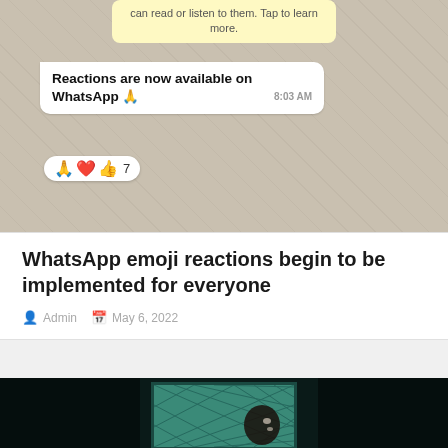[Figure (screenshot): WhatsApp chat screenshot showing a system notification bubble and a message about emoji reactions being available on WhatsApp with emoji reactions (prayer hands, heart, thumbs up) showing count of 7, timestamped 8:03 AM]
WhatsApp emoji reactions begin to be implemented for everyone
Admin   May 6, 2022
[Figure (photo): Dark image showing a person peeking through a latticed or grid-patterned window/door in a dark room, lit with greenish-teal light]